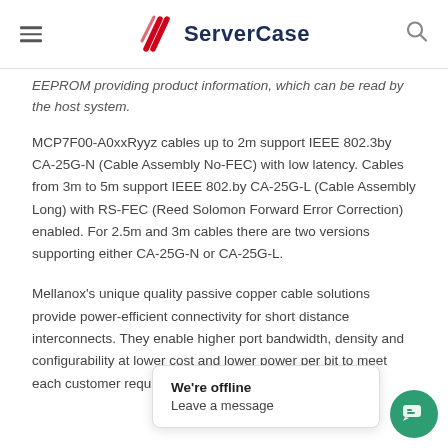ServerCase
EEPROM providing product information, which can be read by the host system.
MCP7F00-A0xxRyyz cables up to 2m support IEEE 802.3by CA-25G-N (Cable Assembly No-FEC) with low latency. Cables from 3m to 5m support IEEE 802.by CA-25G-L (Cable Assembly Long) with RS-FEC (Reed Solomon Forward Error Correction) enabled. For 2.5m and 3m cables there are two versions supporting either CA-25G-N or CA-25G-L.
Mellanox's unique quality passive copper cable solutions provide power-efficient connectivity for short distance interconnects. They enable higher port bandwidth, density and configurability at lower cost... requirement in the d...